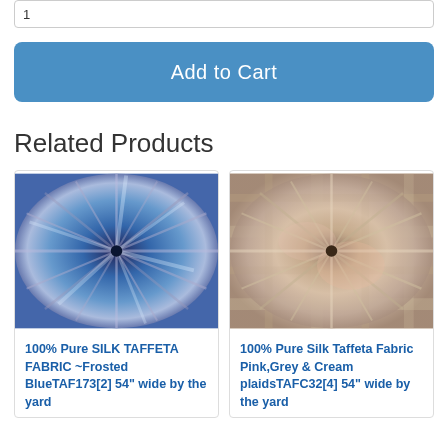1
Add to Cart
Related Products
[Figure (photo): Blue silk taffeta fabric gathered into a starburst/twist pattern showing iridescent blue and silver tones]
100% Pure SILK TAFFETA FABRIC ~Frosted BlueTAF173[2] 54" wide by the yard
[Figure (photo): Pink, grey and cream plaid silk taffeta fabric gathered into a starburst/twist pattern]
100% Pure Silk Taffeta Fabric Pink,Grey & Cream plaidsTAFC32[4] 54" wide by the yard